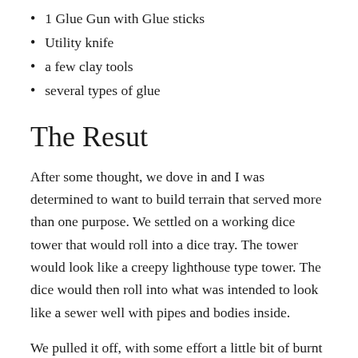1 Glue Gun with Glue sticks
Utility knife
a few clay tools
several types of glue
The Resut
After some thought, we dove in and I was determined to want to build terrain that served more than one purpose. We settled on a working dice tower that would roll into a dice tray. The tower would look like a creepy lighthouse type tower. The dice would then roll into what was intended to look like a sewer well with pipes and bodies inside.
We pulled it off, with some effort a little bit of burnt flesh and a whole lot of panic that we would not ever finish it in time we got the whole thing together painted and